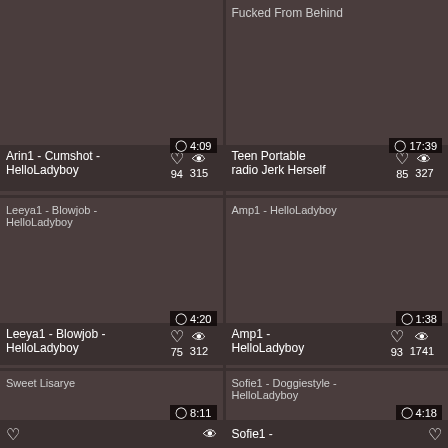[Figure (screenshot): Video thumbnail - partial top left card]
Fucked From Behind
[Figure (screenshot): Video thumbnail - partial top right card, duration 17:39]
Arin1 - Cumshot - HelloLadyboy  94  315
Teen Portable radio Jerk Herself  85  327
[Figure (screenshot): Leeya1 - Blowjob - HelloLadyboy thumbnail, duration 4:20]
[Figure (screenshot): Amp1 - HelloLadyboy thumbnail, duration 1:38]
Leeya1 - Blowjob - HelloLadyboy  75  312
Amp1 - HelloLadyboy  93  1741
[Figure (screenshot): Sweet Lisarye thumbnail, duration 8:11]
[Figure (screenshot): Sofie1 - Doggiestyle - HelloLadyboy thumbnail, duration 4:18]
Sofie1 -